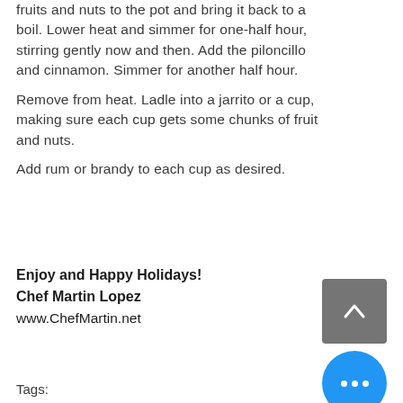fruits and nuts to the pot and bring it back to a boil. Lower heat and simmer for one-half hour, stirring gently now and then. Add the piloncillo and cinnamon. Simmer for another half hour.
Remove from heat. Ladle into a jarrito or a cup, making sure each cup gets some chunks of fruit and nuts.
Add rum or brandy to each cup as desired.
Enjoy and Happy Holidays!
Chef Martin Lopez
www.ChefMartin.net
[Figure (other): A grey square button with an upward-pointing chevron arrow (scroll to top button)]
[Figure (other): A blue circular button with three white dots (more options / ellipsis button)]
Tags: